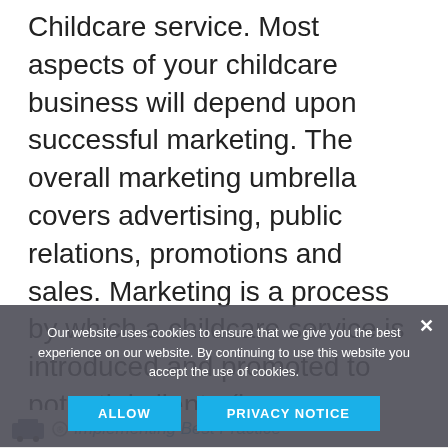Childcare service. Most aspects of your childcare business will depend upon successful marketing. The overall marketing umbrella covers advertising, public relations, promotions and sales. Marketing is a process by which a childcare service is introduced and promoted to potential clients (i.e. parents/carers and children). Without marketing, your business may offer the best childcare service, but none of your potential clients would know about it.
Our website uses cookies to ensure that we give you the best experience on our website. By continuing to use this website you accept the use of cookies.
ALLOW   PRIVACY NOTICE
Implementing Best Practice